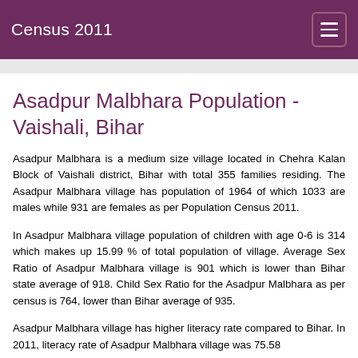Census 2011
Asadpur Malbhara Population - Vaishali, Bihar
Asadpur Malbhara is a medium size village located in Chehra Kalan Block of Vaishali district, Bihar with total 355 families residing. The Asadpur Malbhara village has population of 1964 of which 1033 are males while 931 are females as per Population Census 2011.
In Asadpur Malbhara village population of children with age 0-6 is 314 which makes up 15.99 % of total population of village. Average Sex Ratio of Asadpur Malbhara village is 901 which is lower than Bihar state average of 918. Child Sex Ratio for the Asadpur Malbhara as per census is 764, lower than Bihar average of 935.
Asadpur Malbhara village has higher literacy rate compared to Bihar. In 2011, literacy rate of Asadpur Malbhara village was 75.58